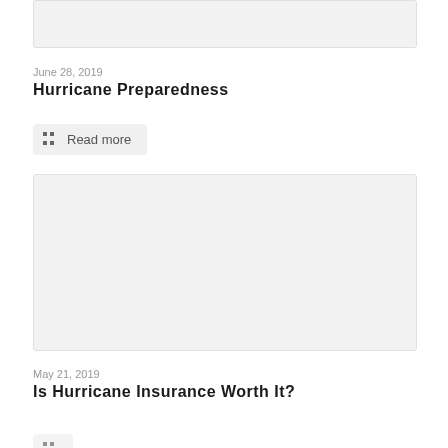[Figure (photo): Top image placeholder, light gray rectangle, partially visible at top of page]
June 28, 2019
Hurricane Preparedness
Read more
[Figure (photo): Large light gray image placeholder rectangle]
May 21, 2019
Is Hurricane Insurance Worth It?